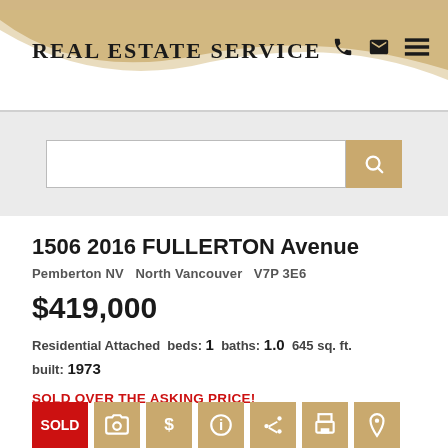Real Estate Service
[Figure (screenshot): Search bar with gold search button]
1506 2016 FULLERTON Avenue
Pemberton NV   North Vancouver   V7P 3E6
$419,000
Residential Attached  beds: 1  baths: 1.0  645 sq. ft.
built: 1973
SOLD OVER THE ASKING PRICE!
[Figure (infographic): Row of action icons: SOLD (red), camera, dollar, info, share, print, location]